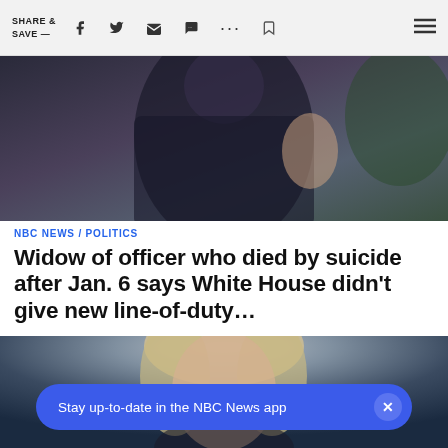SHARE & SAVE —
[Figure (photo): Partial view of a person wearing dark clothing, cropped at shoulder/torso level, with greenery in background]
NBC NEWS / POLITICS
Widow of officer who died by suicide after Jan. 6 says White House didn't give new line-of-duty...
[Figure (photo): Portrait of a blonde woman with light eyes against a dark blue background]
Stay up-to-date in the NBC News app